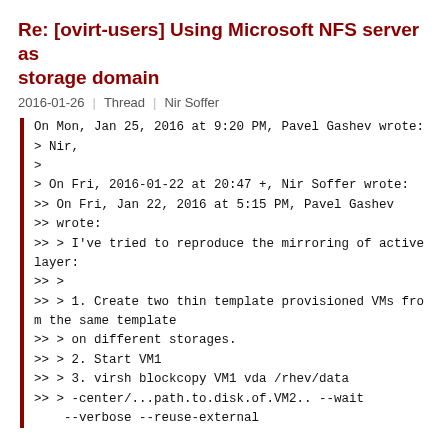Re: [ovirt-users] Using Microsoft NFS server as storage domain
2016-01-26   Thread   Nir Soffer
On Mon, Jan 25, 2016 at 9:20 PM, Pavel Gashev wrote:
> Nir,
>
> On Fri, 2016-01-22 at 20:47 +, Nir Soffer wrote:
>> On Fri, Jan 22, 2016 at 5:15 PM, Pavel Gashev
>> wrote:
>> > I've tried to reproduce the mirroring of active layer:
>> >
>> > 1. Create two thin template provisioned VMs from the same template
>> > on different storages.
>> > 2. Start VM1
>> > 3. virsh blockcopy VM1 vda /rhev/data
>> > -center/...path.to.disk.of.VM2.. --wait
    --verbose --reuse-external